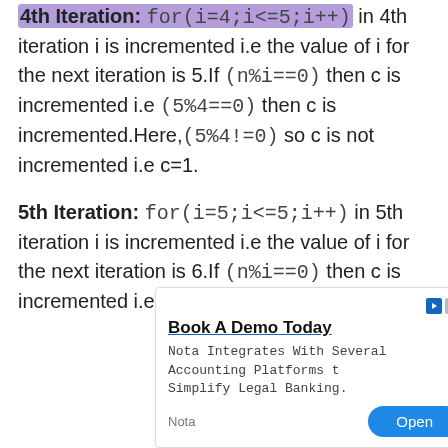4th Iteration: for(i=4;i<=5;i++) in 4th iteration i is incremented i.e the value of i for the next iteration is 5.If (n%i==0) then c is incremented i.e (5%4==0) then c is incremented.Here,(5%4!=0) so c is not incremented i.e c=1.
5th Iteration: for(i=5;i<=5;i++) in 5th iteration i is incremented i.e the value of i for the next iteration is 6.If (n%i==0) then c is incremented i.e (5%5==1) then c
[Figure (other): Advertisement banner for 'Nota' legal banking software. Title: 'Book A Demo Today'. Body: 'Nota Integrates With Several Accounting Platforms to Simplify Legal Banking.' Footer: 'Nota' label on left, 'Open' button on right.]